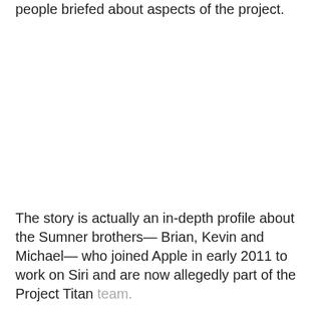people briefed about aspects of the project.
The story is actually an in-depth profile about the Sumner brothers— Brian, Kevin and Michael— who joined Apple in early 2011 to work on Siri and are now allegedly part of the Project Titan team.